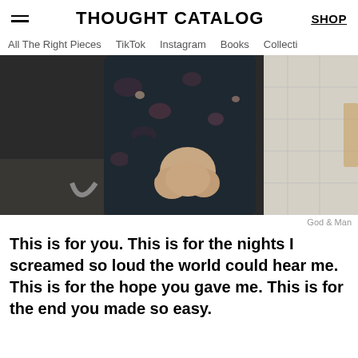THOUGHT CATALOG | SHOP
All The Right Pieces  TikTok  Instagram  Books  Collecti
[Figure (photo): A person in a dark floral dress standing near a bathroom sink, hands clasped in front, white tile wall in background]
God & Man
This is for you. This is for the nights I screamed so loud the world could hear me. This is for the hope you gave me. This is for the end you made so easy.